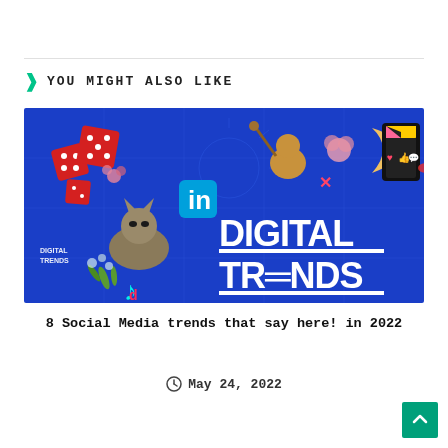YOU MIGHT ALSO LIKE
[Figure (photo): Digital Trends promotional banner image on blue background featuring social media icons, dice, animals, TikTok logo, LinkedIn logo, moon, and flowers with large white text reading DIGITAL TRENDS]
8 Social Media trends that say here! in 2022
May 24, 2022